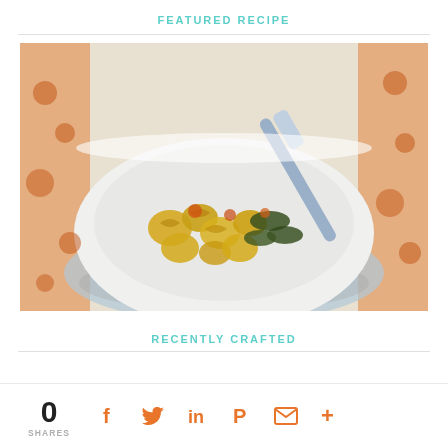FEATURED RECIPE
[Figure (photo): A white bowl filled with rotini pasta, leafy greens (spinach), and other vegetables/toppings, with a metal fork/spoon resting in the bowl, placed on a blue cloth with orange floral pattern tablecloth.]
RECENTLY CRAFTED
0 SHARES
[Figure (infographic): Social share bar with icons for Facebook, Twitter, LinkedIn, Pinterest, Email, and More (+), all in orange color, with share count of 0.]